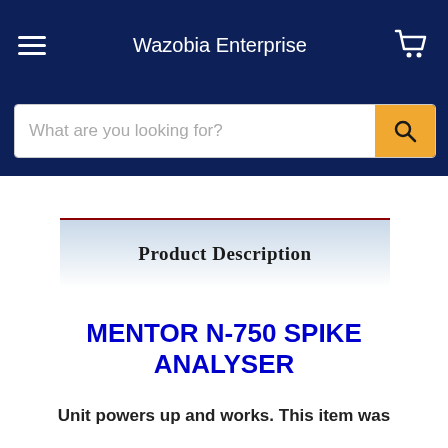Wazobia Enterprise
What are you looking for?
[Figure (screenshot): Product Description header banner with gradient background and dark red top border]
MENTOR N-750 SPIKE ANALYSER
Unit powers up and works. This item was